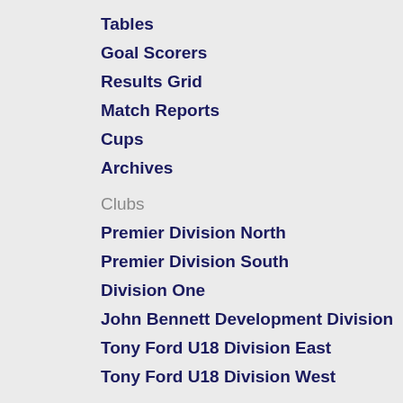Tables
Goal Scorers
Results Grid
Match Reports
Cups
Archives
Clubs
Premier Division North
Premier Division South
Division One
John Bennett Development Division
Tony Ford U18 Division East
Tony Ford U18 Division West
Videos And Photos
Photos
Videos